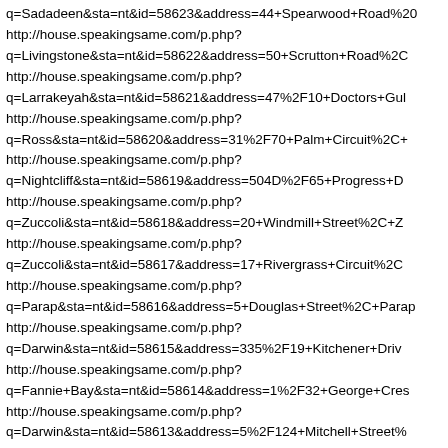q=Sadadeen&sta=nt&id=58623&address=44+Spearwood+Road%20
http://house.speakingsame.com/p.php?
q=Livingstone&sta=nt&id=58622&address=50+Scrutton+Road%2C
http://house.speakingsame.com/p.php?
q=Larrakeyah&sta=nt&id=58621&address=47%2F10+Doctors+Gul
http://house.speakingsame.com/p.php?
q=Ross&sta=nt&id=58620&address=31%2F70+Palm+Circuit%2C+
http://house.speakingsame.com/p.php?
q=Nightcliff&sta=nt&id=58619&address=504D%2F65+Progress+D
http://house.speakingsame.com/p.php?
q=Zuccoli&sta=nt&id=58618&address=20+Windmill+Street%2C+Z
http://house.speakingsame.com/p.php?
q=Zuccoli&sta=nt&id=58617&address=17+Rivergrass+Circuit%2C
http://house.speakingsame.com/p.php?
q=Parap&sta=nt&id=58616&address=5+Douglas+Street%2C+Parap
http://house.speakingsame.com/p.php?
q=Darwin&sta=nt&id=58615&address=335%2F19+Kitchener+Driv
http://house.speakingsame.com/p.php?
q=Fannie+Bay&sta=nt&id=58614&address=1%2F32+George+Cres
http://house.speakingsame.com/p.php?
q=Darwin&sta=nt&id=58613&address=5%2F124+Mitchell+Street%
http://house.speakingsame.com/p.php?
q=Nakara&sta=nt&id=58612&address=17+Rattray+Street%2C+Nak
http://house.speakingsame.com/p.php?
q=Wycliffe+Well&sta=nt&id=58611&address=1+NEW+Listing+te